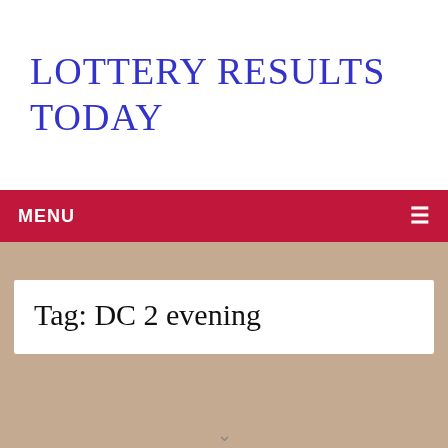LOTTERY RESULTS TODAY
MENU ≡
Tag: DC 2 evening